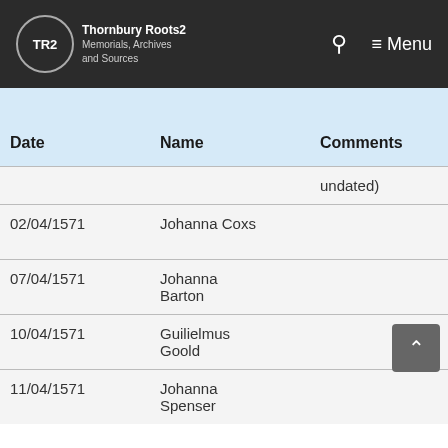TR2 Thornbury Roots2 Memorials, Archives and Sources
| Date | Name | Comments | Source Image no. |
| --- | --- | --- | --- |
|  |  | undated) |  |
| 02/04/1571 | Johanna Coxs |  | PR 59 of 588 |
| 07/04/1571 | Johanna Barton |  | PR 59 of 588 |
| 10/04/1571 | Guilielmus Goold |  | PR 59 of 588 |
| 11/04/1571 | Johanna Spenser |  | PR 59 of 588 |